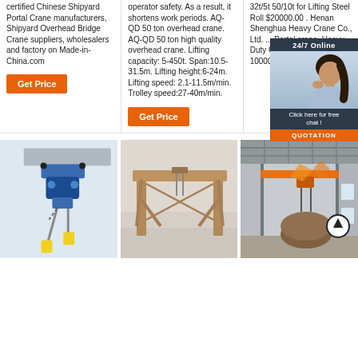certified Chinese Shipyard Portal Crane manufacturers, Shipyard Overhead Bridge Crane suppliers, wholesalers and factory on Made-in-China.com
operator safety. As a result, it shortens work periods. AQ-QD 50 ton overhead crane. AQ-QD 50 ton high quality overhead crane. Lifting capacity: 5-450t. Span:10.5-31.5m. Lifting height:6-24m. Lifting speed: 2.1-11.5m/min. Trolley speed:27-40m/min.
32t/5t 50/10t for Lifting Steel Roll $20000.00 . Henan Shenghua Heavy Crane Co., Ltd. ... Portal crane. Heavy Duty Ou... Crane L... Contain 100000
[Figure (screenshot): 24/7 Online chat widget with female customer service representative photo, 'Click here for free chat!' text and orange QUOTATION button]
[Figure (photo): Blue electric chain hoist mounted on beam against grey background]
[Figure (photo): Large orange/rust-colored gantry crane structure in foggy/snowy outdoor setting]
[Figure (photo): Indoor overhead bridge crane in industrial warehouse with orange crane beam, and large cylindrical steel roll on floor]